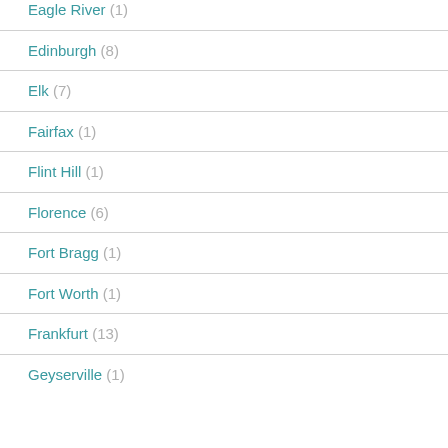Eagle River (1)
Edinburgh (8)
Elk (7)
Fairfax (1)
Flint Hill (1)
Florence (6)
Fort Bragg (1)
Fort Worth (1)
Frankfurt (13)
Geyserville (1)